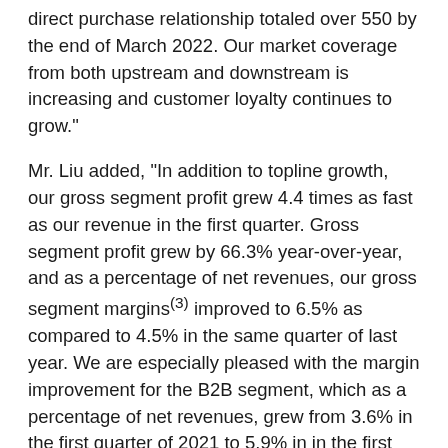direct purchase relationship totaled over 550 by the end of March 2022. Our market coverage from both upstream and downstream is increasing and customer loyalty continues to grow."
Mr. Liu added, "In addition to topline growth, our gross segment profit grew 4.4 times as fast as our revenue in the first quarter. Gross segment profit grew by 66.3% year-over-year, and as a percentage of net revenues, our gross segment margins(3) improved to 6.5% as compared to 4.5% in the same quarter of last year. We are especially pleased with the margin improvement for the B2B segment, which as a percentage of net revenues, grew from 3.6% in the first quarter of 2021 to 5.9% in in the first quarter this year. Our operation efficiency also improved and total operating expenses as a percentage of net revenues decreased to 9.9% in this quarter as compared to 11.1% in the same quarter of last year.  We expect this momentum in improving operation efficiency to continue as we scale,